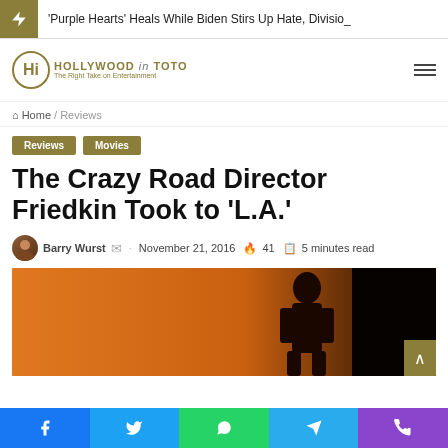'Purple Hearts' Heals While Biden Stirs Up Hate, Divisio_
[Figure (logo): Hollywood in Toto logo - The Right Take on Entertainment]
Home / Reviews
Reviews   Movies
The Crazy Road Director Friedkin Took to 'L.A.'
Barry Wurst · November 21, 2016 🔥 41 📖 5 minutes read
[Figure (photo): Orange-toned movie still with silhouette of figure against dark background]